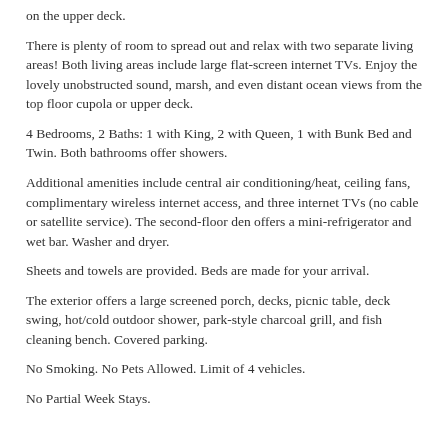on the upper deck.
There is plenty of room to spread out and relax with two separate living areas! Both living areas include large flat-screen internet TVs. Enjoy the lovely unobstructed sound, marsh, and even distant ocean views from the top floor cupola or upper deck.
4 Bedrooms, 2 Baths: 1 with King, 2 with Queen, 1 with Bunk Bed and Twin. Both bathrooms offer showers.
Additional amenities include central air conditioning/heat, ceiling fans, complimentary wireless internet access, and three internet TVs (no cable or satellite service). The second-floor den offers a mini-refrigerator and wet bar. Washer and dryer.
Sheets and towels are provided. Beds are made for your arrival.
The exterior offers a large screened porch, decks, picnic table, deck swing, hot/cold outdoor shower, park-style charcoal grill, and fish cleaning bench. Covered parking.
No Smoking. No Pets Allowed. Limit of 4 vehicles.
No Partial Week Stays.